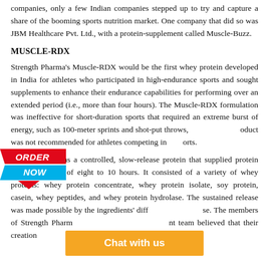companies, only a few Indian companies stepped up to try and capture a share of the booming sports nutrition market. One company that did so was JBM Healthcare Pvt. Ltd., with a protein-supplement called Muscle-Buzz.
MUSCLE-RDX
Strength Pharma's Muscle-RDX would be the first whey protein developed in India for athletes who participated in high-endurance sports and sought supplements to enhance their endurance capabilities for performing over an extended period (i.e., more than four hours). The Muscle-RDX formulation was ineffective for short-duration sports that required an extreme burst of energy, such as 100-meter sprints and shot-put throws, the product was not recommended for athletes competing in such sports.
Muscle-RDX was a controlled, slow-release protein that supplied protein for a minimum of eight to 10 hours. It consisted of a variety of whey proteins: whey protein concentrate, whey protein isolate, soy protein, casein, whey peptides, and whey protein hydrolase. The sustained release was made possible by the ingredients' different rates of protein release. The members of Strength Pharma's management team believed that their creation...